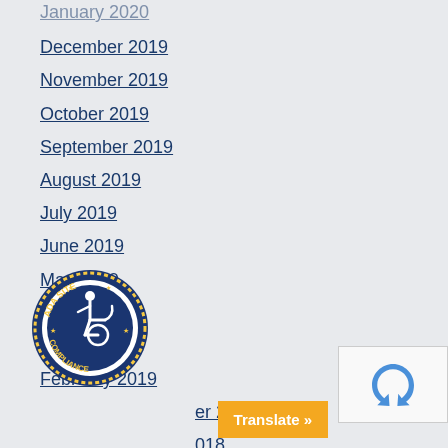December 2019
November 2019
October 2019
September 2019
August 2019
July 2019
June 2019
May 2019
April 2019
March 2019
February 2019
er 2018
018
July 2018
[Figure (logo): ADA Site Compliance badge with wheelchair accessibility symbol]
[Figure (logo): reCAPTCHA verification widget]
Translate »